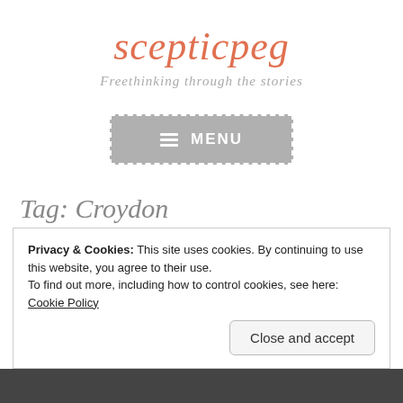scepticpeg
Freethinking through the stories
[Figure (screenshot): Menu button with hamburger icon and MENU text on grey background with dashed border]
Tag: Croydon
Privacy & Cookies: This site uses cookies. By continuing to use this website, you agree to their use.
To find out more, including how to control cookies, see here: Cookie Policy
Close and accept